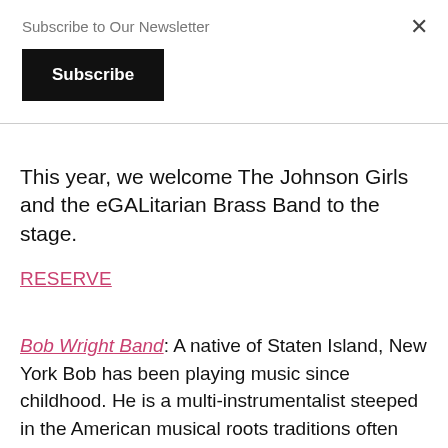Subscribe to Our Newsletter
Subscribe
×
This year, we welcome The Johnson Girls and the eGALitarian Brass Band to the stage.
RESERVE
Bob Wright Band: A native of Staten Island, New York Bob has been playing music since childhood. He is a multi-instrumentalist steeped in the American musical roots traditions often referred to as Americana. A long-time member of the Risky Business Bluegrass Band and his own group, Harbortown, Bob often branches out to perform solo or in diverse, acoustic, musical settings